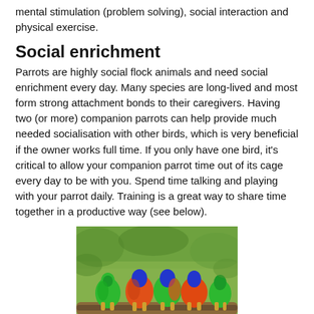mental stimulation (problem solving), social interaction and physical exercise.
Social enrichment
Parrots are highly social flock animals and need social enrichment every day. Many species are long-lived and most form strong attachment bonds to their caregivers. Having two (or more) companion parrots can help provide much needed socialisation with other birds, which is very beneficial if the owner works full time. If you only have one bird, it's critical to allow your companion parrot time out of its cage every day to be with you. Spend time talking and playing with your parrot daily. Training is a great way to share time together in a productive way (see below).
[Figure (photo): Several colorful parrots (rainbow lorikeets) perched on a tree branch, viewed from behind, showing vibrant green, blue, red, and orange plumage against a blurred green leafy background.]